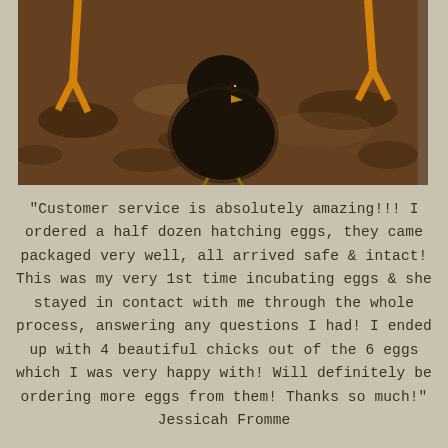[Figure (photo): Close-up photo of a dark/black baby chick standing on brown dirt ground, with orange/yellow legs visible in the background from other chickens.]
"Customer service is absolutely amazing!!! I ordered a half dozen hatching eggs, they came packaged very well, all arrived safe & intact! This was my very 1st time incubating eggs & she stayed in contact with me through the whole process, answering any questions I had! I ended up with 4 beautiful chicks out of the 6 eggs which I was very happy with! Will definitely be ordering more eggs from them! Thanks so much!" Jessicah Fromme